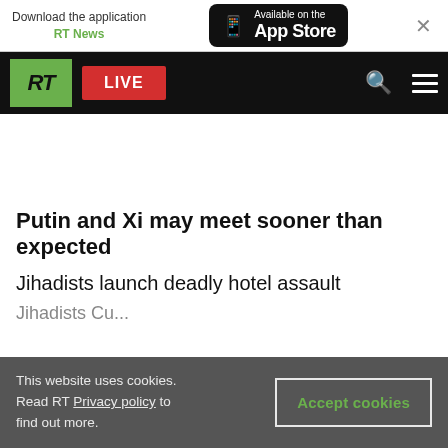Download the application RT News | Available on the App Store
RT LIVE
Putin and Xi may meet sooner than expected
Jihadists launch deadly hotel assault
This website uses cookies. Read RT Privacy policy to find out more.
Accept cookies